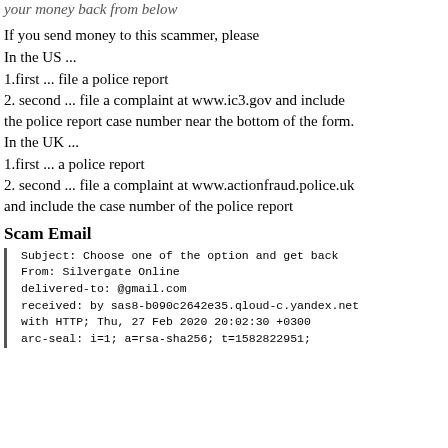your money back from below
If you send money to this scammer, please
In the US ...
1.first ... file a police report
2. second ... file a complaint at www.ic3.gov and include the police report case number near the bottom of the form.
In the UK ...
1.first ... a police report
2. second ... file a complaint at www.actionfraud.police.uk and include the case number of the police report
Scam Email
Subject: Choose one of the option and get back
From: Silvergate Online
delivered-to: @gmail.com
received: by sas8-b090c2642e35.qloud-c.yandex.net
with HTTP; Thu, 27 Feb 2020 20:02:30 +0300
arc-seal: i=1; a=rsa-sha256; t=1582822951;